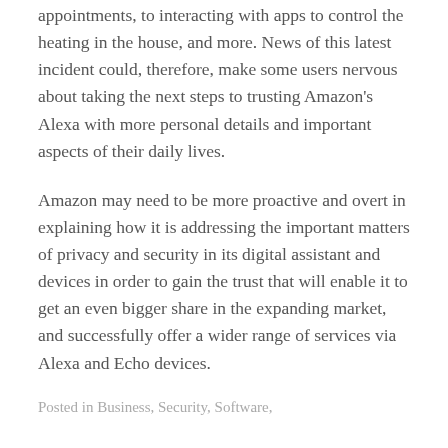appointments, to interacting with apps to control the heating in the house, and more. News of this latest incident could, therefore, make some users nervous about taking the next steps to trusting Amazon's Alexa with more personal details and important aspects of their daily lives.
Amazon may need to be more proactive and overt in explaining how it is addressing the important matters of privacy and security in its digital assistant and devices in order to gain the trust that will enable it to get an even bigger share in the expanding market, and successfully offer a wider range of services via Alexa and Echo devices.
Posted in Business, Security, Software,